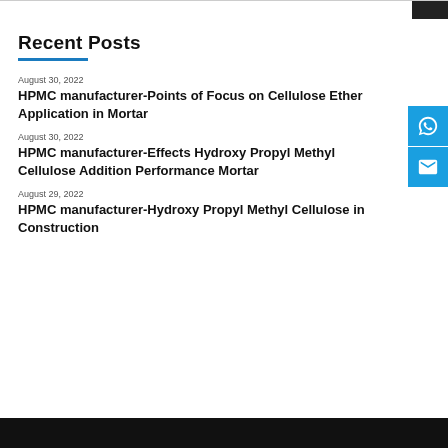Recent Posts
August 30, 2022
HPMC manufacturer-Points of Focus on Cellulose Ether Application in Mortar
August 30, 2022
HPMC manufacturer-Effects Hydroxy Propyl Methyl Cellulose Addition Performance Mortar
August 29, 2022
HPMC manufacturer-Hydroxy Propyl Methyl Cellulose in Construction